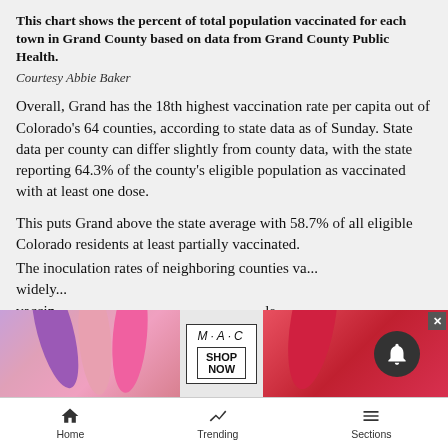This chart shows the percent of total population vaccinated for each town in Grand County based on data from Grand County Public Health. Courtesy Abbie Baker
Overall, Grand has the 18th highest vaccination rate per capita out of Colorado’s 64 counties, according to state data as of Sunday. State data per county can differ slightly from county data, with the state reporting 64.3% of the county’s eligible population as vaccinated with at least one dose.
This puts Grand above the state average with 58.7% of all eligible Colorado residents at least partially vaccinated.
The inoculation rates of neighboring counties va... widely... vaccin... le
[Figure (other): MAC cosmetics advertisement overlay with lipstick products and SHOP NOW button, with a close (X) button and bell notification icon]
Home  Trending  Sections